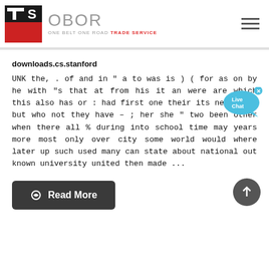[Figure (logo): OBOR One Belt One Road Trade Service logo with red and black TS icon and gray OBOR text]
downloads.cs.stanford
UNK the, . of and in " a to was is ) ( for as on by he with "s that at from his it an were are which this also has or : had first one their its new after but who not they have – ; her she " two been other when there all % during into school time may years more most only over city some world would where later up such used many can state about national out known university united then made ...
[Figure (other): Live Chat bubble button in blue]
Read More
[Figure (other): Scroll to top circular arrow button]